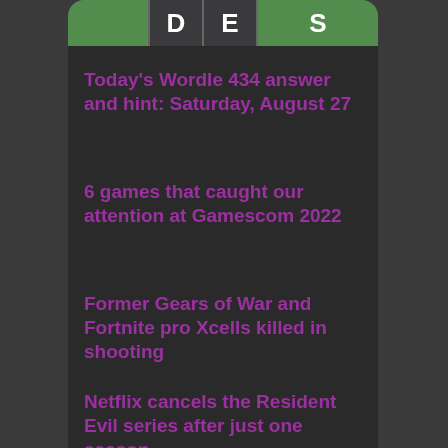[Figure (screenshot): Wordle game banner showing partial word tiles: green tile, gray tiles with letters D, E, and green tile with letter S]
Today's Wordle 434 answer and hint: Saturday, August 27
6 games that caught our attention at Gamescom 2022
Former Gears of War and Fortnite pro Xcells killed in shooting
Netflix cancels the Resident Evil series after just one season